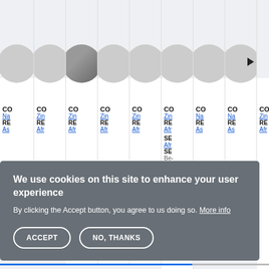[Figure (screenshot): Website screenshot showing a card-based list of contacts or profiles with avatars (circles), partially visible text including 'CO', 'Na', 'RE', 'As', 'Zin', 'Afr' labels cut off by card edges. A cookie consent banner overlays the bottom portion.]
We use cookies on this site to enhance your user experience
By clicking the Accept button, you agree to us doing so. More info
ACCEPT
NO, THANKS